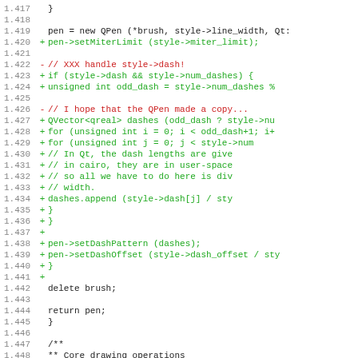[Figure (screenshot): Source code diff showing lines 1.417 to 1.448 of a C++ file, with added lines (green +) and removed lines (red -). The code shows QPen creation and dash pattern handling logic.]